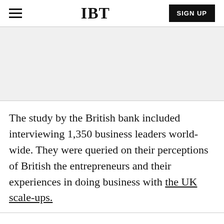IBT | SIGN UP
[Figure (other): Gray advertisement or image placeholder area]
The study by the British bank included interviewing 1,350 business leaders world-wide. They were queried on their perceptions of British the entrepreneurs and their experiences in doing business with the UK scale-ups.